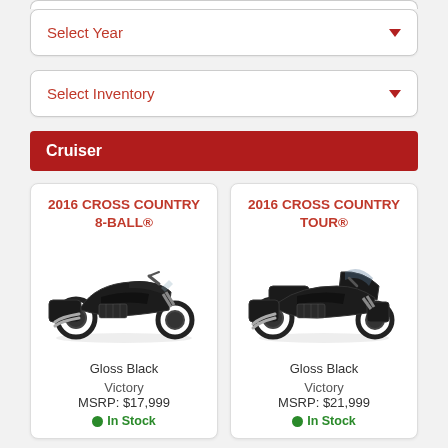Select Year
Select Inventory
Cruiser
2016 CROSS COUNTRY 8-BALL®
[Figure (photo): Black motorcycle - 2016 Cross Country 8-Ball cruiser, glossy black finish, side view]
Gloss Black
Victory
MSRP: $17,999
In Stock
2016 CROSS COUNTRY TOUR®
[Figure (photo): Black motorcycle - 2016 Cross Country Tour cruiser, glossy black finish with touring fairing, side view]
Gloss Black
Victory
MSRP: $21,999
In Stock